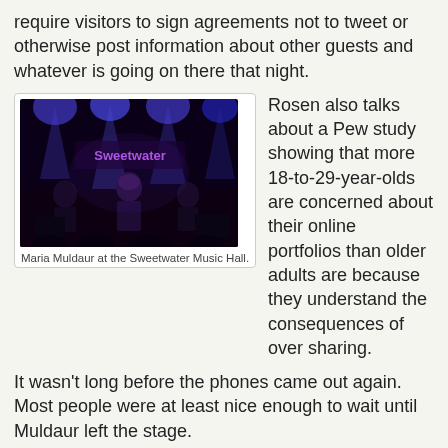require visitors to sign agreements not to tweet or otherwise post information about other guests and whatever is going on there that night.
[Figure (photo): Concert photo showing musicians performing on stage at Sweetwater Music Hall, with blue stage lighting and a visible venue sign in the background.]
Maria Muldaur at the Sweetwater Music Hall.
Rosen also talks about a Pew study showing that more 18-to-29-year-olds are concerned about their online portfolios than older adults are because they understand the consequences of over sharing.
It wasn't long before the phones came out again. Most people were at least nice enough to wait until Muldaur left the stage.
Which brings me back to why it is that so many people do this now days. Throughout the show I had been thinking the same thing myself. I wanted to enjoy the show and didn't want to bother anyone behind me if I decided to pull out my phone and shoot some video.